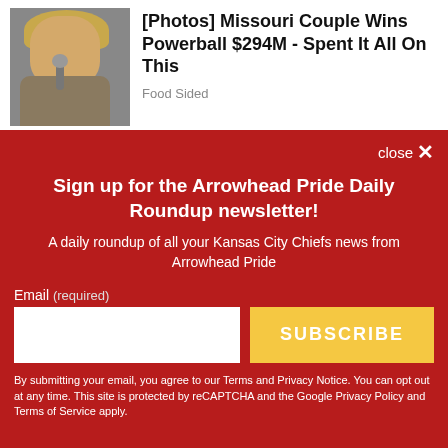[Figure (photo): Photo of a blonde woman speaking at a microphone outdoors]
[Photos] Missouri Couple Wins Powerball $294M - Spent It All On This
Food Sided
close ×
Sign up for the Arrowhead Pride Daily Roundup newsletter!
A daily roundup of all your Kansas City Chiefs news from Arrowhead Pride
Email (required)
SUBSCRIBE
By submitting your email, you agree to our Terms and Privacy Notice. You can opt out at any time. This site is protected by reCAPTCHA and the Google Privacy Policy and Terms of Service apply.